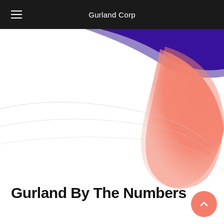Gurland Corp
[Figure (illustration): Abstract decorative hero section with a dark navy/purple wave shape at top right, a large salmon/coral triangular blob shape in the upper right area, and subtle light gray curved lines across the white background]
Gurland By The Numbers